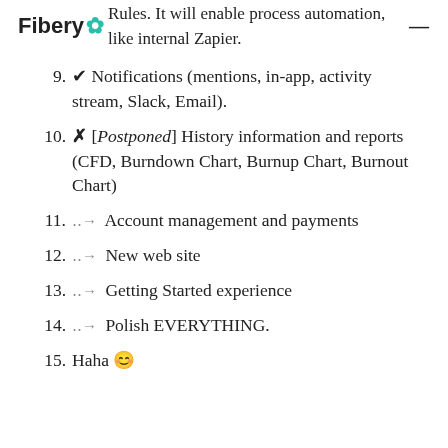Fibery
Rules. It will enable process automation, like internal Zapier.
✔ Notifications (mentions, in-app, activity stream, Slack, Email).
✗ [Postponed] History information and reports (CFD, Burndown Chart, Burnup Chart, Burnout Chart)
⇢ Account management and payments
⇢ New web site
⇢ Getting Started experience
⇢ Polish EVERYTHING.
Haha 😊